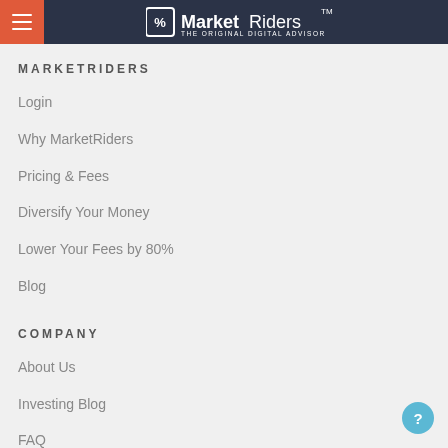MarketRiders — THE ORIGINAL DIGITAL ADVISOR
MARKETRIDERS
Login
Why MarketRiders
Pricing & Fees
Diversify Your Money
Lower Your Fees by 80%
Blog
COMPANY
About Us
Investing Blog
FAQ
News & Press
TV & Radio
Contact Us